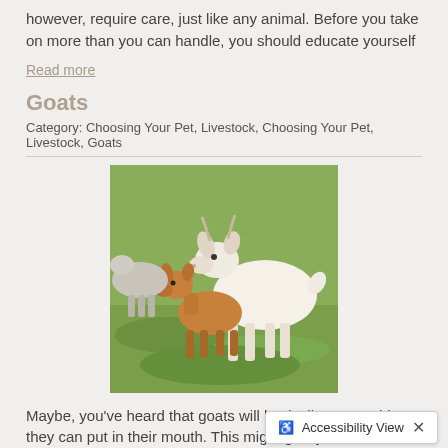however, require care, just like any animal. Before you take on more than you can handle, you should educate yourself
Read more
Goats
Category: Choosing Your Pet, Livestock, Choosing Your Pet, Livestock, Goats
[Figure (photo): Two goats standing on green grass — a larger white and brown goat and a smaller brown kid goat]
Maybe, you've heard that goats will basically eat anything they can put in their mouth. This might give you the impression that they're simple animals to take care of, but this isn't the case. Goats need proper nutrition and enough space, among other things, to grow strong and healthy. Therefore, before
Read more
Donkeys, Horses & L
Accessibility View